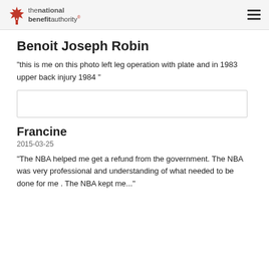the national benefit authority
Benoit Joseph Robin
"this is me on this photo left leg operation with plate and in 1983 upper back injury 1984 "
[Figure (photo): Empty image placeholder box]
Francine
2015-03-25
"The NBA helped me get a refund from the government. The NBA was very professional and understanding of what needed to be done for me . The NBA kept me..."